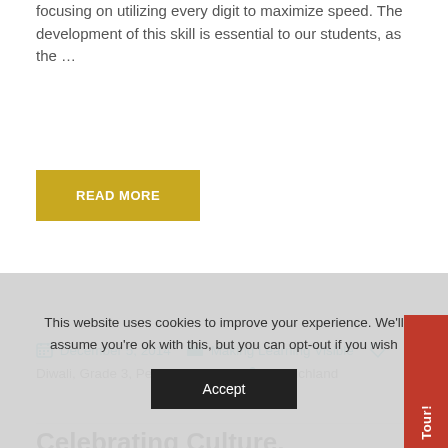focusing on utilizing every digit to maximize speed. The development of this skill is essential to our students, as the …
READ MORE
December 5, 2014   Making Learning Visible   Diwali, Grade 3, Performing Arts   by Richland
Celebrating Culture,
This website uses cookies to improve your experience. We'll assume you're ok with this, but you can opt-out if you wish
Accept